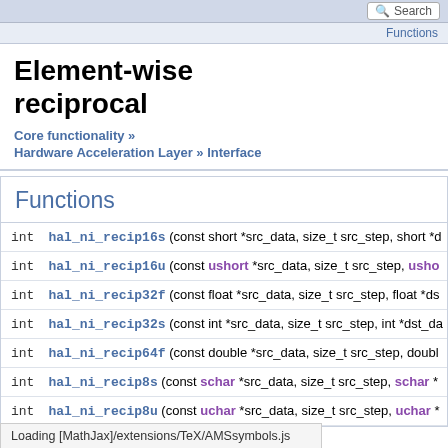Search
Functions
Element-wise reciprocal
Core functionality »
Hardware Acceleration Layer » Interface
Functions
|  |  |
| --- | --- |
| int | hal_ni_recip16s (const short *src_data, size_t src_step, short *d... |
| int | hal_ni_recip16u (const ushort *src_data, size_t src_step, usho... |
| int | hal_ni_recip32f (const float *src_data, size_t src_step, float *ds... |
| int | hal_ni_recip32s (const int *src_data, size_t src_step, int *dst_da... |
| int | hal_ni_recip64f (const double *src_data, size_t src_step, double... |
| int | hal_ni_recip8s (const schar *src_data, size_t src_step, schar *... |
| int | hal_ni_recip8u (const uchar *src_data, size_t src_step, uchar ... |
Loading [MathJax]/extensions/TeX/AMSsymbols.js